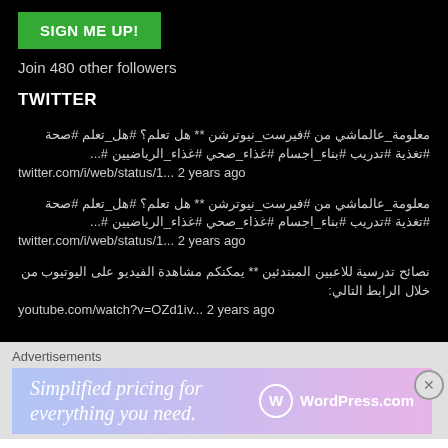[Figure (other): Green 'SIGN ME UP!' button]
Join 480 other followers
TWITTER
معلومة_عالماشي من #فيرست_نيوترشن ** هل تعلم؟ #هل_تعلم #صحة #تغذية #تدريب #بناء_اجسام #غذاء_صحي #غذاء_الرياضيين #...
twitter.com/i/web/status/1... 2 years ago
معلومة_عالماشي من #فيرست_نيوترشن ** هل تعلم؟ #هل_تعلم #صحة #تغذية #تدريب #بناء_اجسام #غذاء_صحي #غذاء_الرياضيين #...
twitter.com/i/web/status/1... 2 years ago
نصائح تدرسية للاعبين المبتدئين ** يمكنكم مشاهدة الفيديو على اليوتيوب من خلال الرابط التالي: youtube.com/watch?v=OZd1iv... 2 years ago
Advertisements
[Figure (other): WordPress.com advertisement banner: 'Simplified pricing for everything you need.']